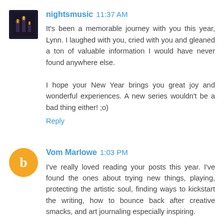[Figure (photo): Dark avatar image showing candles, for user nightsmusic]
nightsmusic 11:37 AM
It's been a memorable journey with you this year, Lynn. I laughed with you, cried with you and gleaned a ton of valuable information I would have never found anywhere else.

I hope your New Year brings you great joy and wonderful experiences. A new series wouldn't be a bad thing either! ;o)
Reply
[Figure (logo): Orange circle Blogger 'B' logo avatar for user Vom Marlowe]
Vom Marlowe 1:03 PM
I've really loved reading your posts this year. I've found the ones about trying new things, playing, protecting the artistic soul, finding ways to kickstart the writing, how to bounce back after creative smacks, and art journaling especially inspiring.